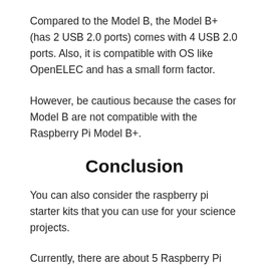Compared to the Model B, the Model B+ (has 2 USB 2.0 ports) comes with 4 USB 2.0 ports. Also, it is compatible with OS like OpenELEC and has a small form factor.
However, be cautious because the cases for Model B are not compatible with the Raspberry Pi Model B+.
Conclusion
You can also consider the raspberry pi starter kits that you can use for your science projects.
Currently, there are about 5 Raspberry Pi that you can choose from? However, which is the best Raspberry Pi model?